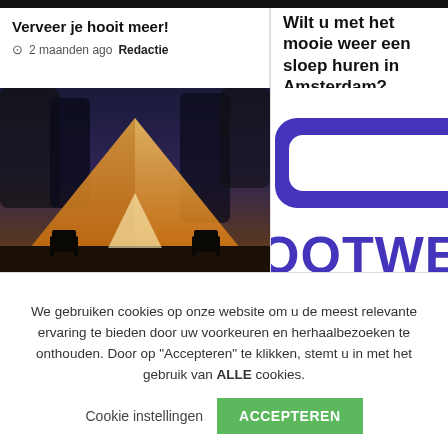Verveer je hooit meer!
2 maanden ago  Redactie
Wilt u met het mooie weer een sloep huren in Amsterdam?
4 maanden ago  Redactie
[Figure (photo): Glowing tent at dusk with trees and chairs in silhouette]
[Figure (logo): Partial purple logo showing rounded rectangle and text OOTWEAR]
We gebruiken cookies op onze website om u de meest relevante ervaring te bieden door uw voorkeuren en herhaalbezoeken te onthouden. Door op "Accepteren" te klikken, stemt u in met het gebruik van ALLE cookies.
Cookie instellingen  ACCEPTEREN